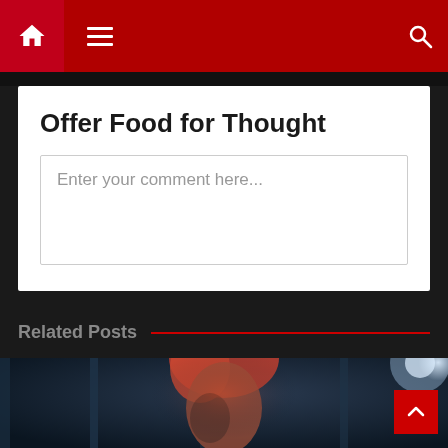Navigation bar with home icon, menu icon, and search icon
Offer Food for Thought
Enter your comment here...
Related Posts
[Figure (photo): A woman with red/pink hair in a dark blue-lit corridor or hallway, moody cinematic lighting]